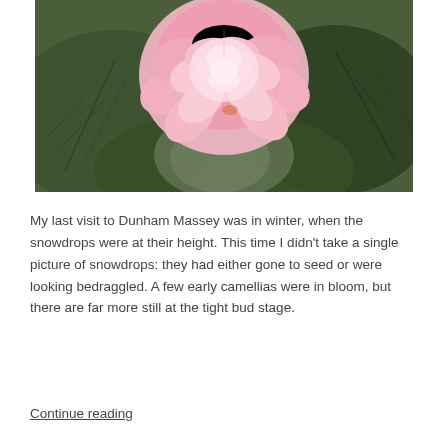[Figure (photo): Close-up photograph of a pink camellia flower in bloom, surrounded by large dark green leaves. The flower has many layered petals in shades of pink and white.]
My last visit to Dunham Massey was in winter, when the snowdrops were at their height. This time I didn't take a single picture of snowdrops: they had either gone to seed or were looking bedraggled. A few early camellias were in bloom, but there are far more still at the tight bud stage.
Continue reading